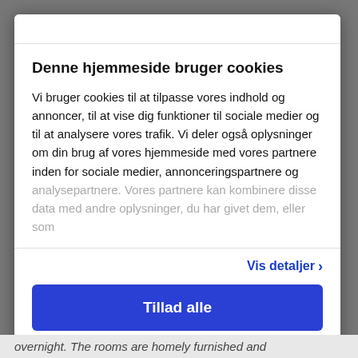Denne hjemmeside bruger cookies
Vi bruger cookies til at tilpasse vores indhold og annoncer, til at vise dig funktioner til sociale medier og til at analysere vores trafik. Vi deler også oplysninger om din brug af vores hjemmeside med vores partnere inden for sociale medier, annonceringspartnere og analysepartnere. Vores partnere kan kombinere disse data med andre oplysninger, du har givet dem, eller som
Vis detaljer
Tillad alle
Powered by Cookiebot by Usercentrics
overnight. The rooms are homely furnished and